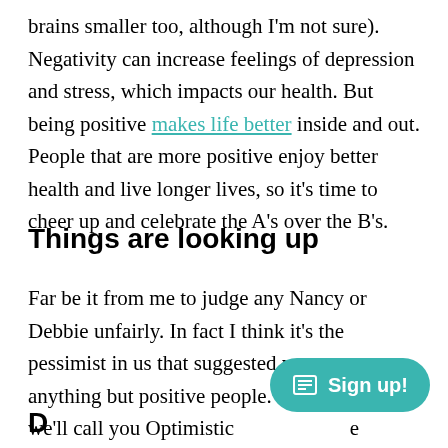brains smaller too, although I'm not sure). Negativity can increase feelings of depression and stress, which impacts our health. But being positive makes life better inside and out. People that are more positive enjoy better health and live longer lives, so it's time to cheer up and celebrate the A's over the B's.
Things are looking up
Far be it from me to judge any Nancy or Debbie unfairly. In fact I think it's the pessimist in us that suggested you two were anything but positive people. From now on, we'll call you Optimistic [covered] the stats are promising. Let's take a lo[covered]